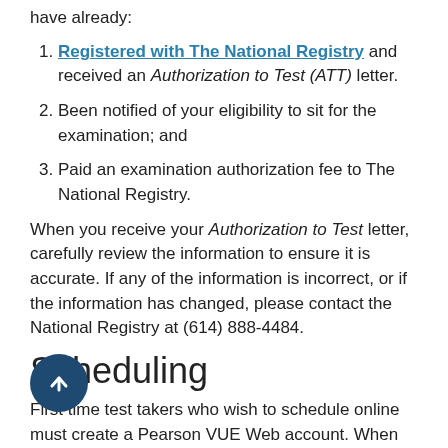have already:
Registered with The National Registry and received an Authorization to Test (ATT) letter.
Been notified of your eligibility to sit for the examination; and
Paid an examination authorization fee to The National Registry.
When you receive your Authorization to Test letter, carefully review the information to ensure it is accurate. If any of the information is incorrect, or if the information has changed, please contact the National Registry at (614) 888-4484.
Scheduling
First time test takers who wish to schedule online must create a Pearson VUE Web account. When creating your account and scheduling your test, you will need your National Registry Candidate ID from the Authorization to Test letter National Registry sent you. Appointments may be made up to one business day in advance.